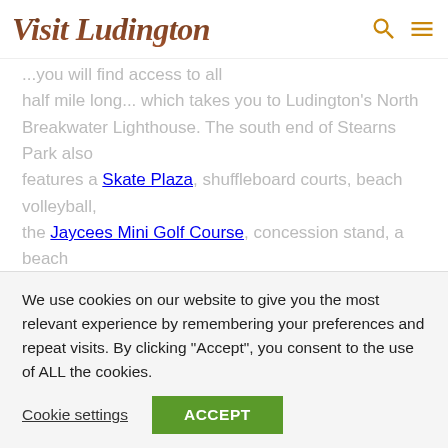Visit Ludington
...you will find access to all half mile long... which takes you to Ludington's North Breakwater Lighthouse. The south end of Stearns Park also features a Skate Plaza, shuffleboard courts, beach volleyball, the Jaycees Mini Golf Course, concession stand, a beach playground and an accessible walkway down to the shoreline.
The north end of Stearns Park has an accessible walkway that has been constructed by the north concession stand. The walkway provides the handicapped with access down to the water from the parking lot.
We use cookies on our website to give you the most relevant experience by remembering your preferences and repeat visits. By clicking "Accept", you consent to the use of ALL the cookies.